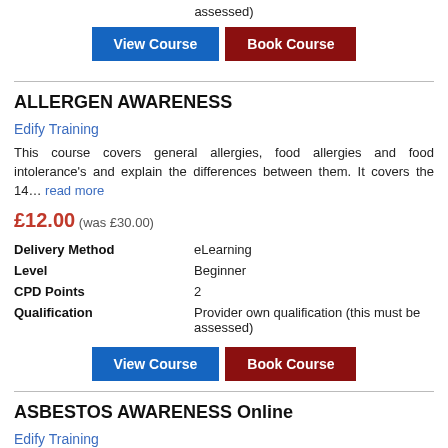assessed)
View Course | Book Course
ALLERGEN AWARENESS
Edify Training
This course covers general allergies, food allergies and food intolerance's and explain the differences between them. It covers the 14… read more
£12.00 (was £30.00)
| Field | Value |
| --- | --- |
| Delivery Method | eLearning |
| Level | Beginner |
| CPD Points | 2 |
| Qualification | Provider own qualification (this must be assessed) |
View Course | Book Course
ASBESTOS AWARENESS Online
Edify Training
This course covers all areas of asbestos awareness and is designed for anyone who may come into contact with asbestos… read more